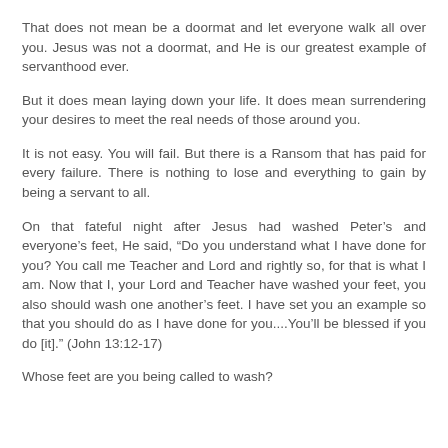That does not mean be a doormat and let everyone walk all over you. Jesus was not a doormat, and He is our greatest example of servanthood ever.
But it does mean laying down your life. It does mean surrendering your desires to meet the real needs of those around you.
It is not easy. You will fail. But there is a Ransom that has paid for every failure. There is nothing to lose and everything to gain by being a servant to all.
On that fateful night after Jesus had washed Peter's and everyone's feet, He said, “Do you understand what I have done for you? You call me Teacher and Lord and rightly so, for that is what I am. Now that I, your Lord and Teacher have washed your feet, you also should wash one another's feet. I have set you an example so that you should do as I have done for you....You'll be blessed if you do [it].” (John 13:12-17)
Whose feet are you being called to wash?